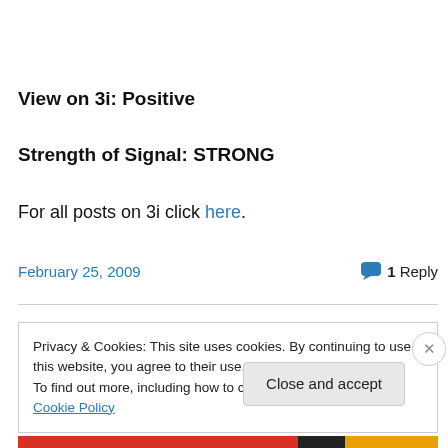View on 3i: Positive
Strength of Signal: STRONG
For all posts on 3i click here.
February 25, 2009
1 Reply
Privacy & Cookies: This site uses cookies. By continuing to use this website, you agree to their use.
To find out more, including how to control cookies, see here: Cookie Policy
Close and accept